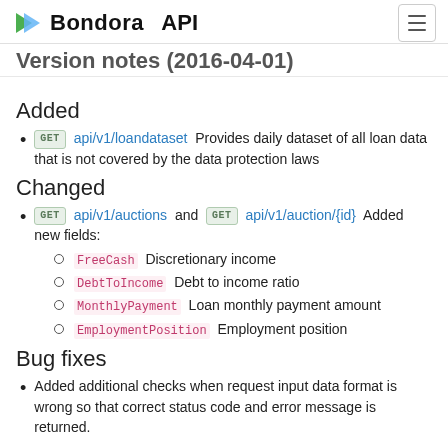Bondora API
Version notes (2016-04-01)
Added
GET api/v1/loandataset Provides daily dataset of all loan data that is not covered by the data protection laws
Changed
GET api/v1/auctions and GET api/v1/auction/{id} Added new fields:
FreeCash  Discretionary income
DebtToIncome  Debt to income ratio
MonthlyPayment  Loan monthly payment amount
EmploymentPosition  Employment position
Bug fixes
Added additional checks when request input data format is wrong so that correct status code and error message is returned.